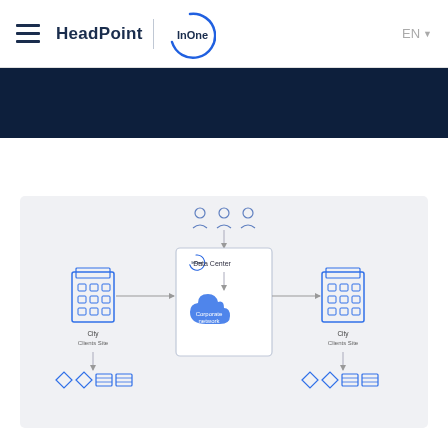HeadPoint | InOne   EN
[Figure (network-graph): Network diagram showing two office buildings (City Clients/Sites) connected via a central InOne Data Center box with a corporate network cloud. User icons appear above the center, and server/switch icons appear below each building.]